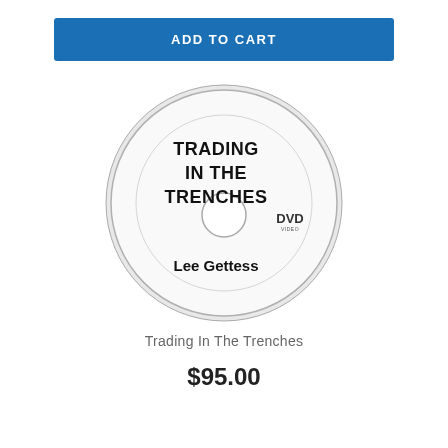ADD TO CART
[Figure (illustration): A DVD disc with text 'TRADING IN THE TRENCHES' in bold on the top half and 'Lee Gettess' in bold at the bottom, with a DVD logo on the right side and a center hole circle.]
Trading In The Trenches
$95.00